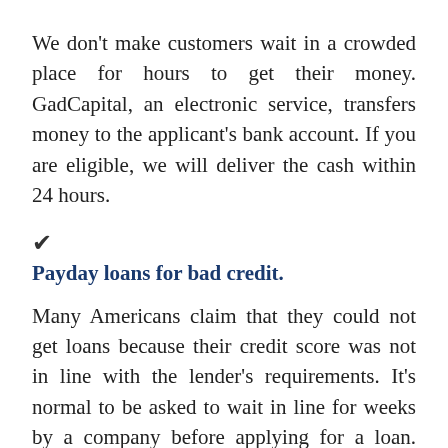We don't make customers wait in a crowded place for hours to get their money. GadCapital, an electronic service, transfers money to the applicant's bank account. If you are eligible, we will deliver the cash within 24 hours.
✓ Payday loans for bad credit.
Many Americans claim that they could not get loans because their credit score was not in line with the lender's requirements. It's normal to be asked to wait in line for weeks by a company before applying for a loan. GadCapital does not consider your credit score a priority. Our decision is based solely on your eligibility. You must be at least 18 years of age and reside in Massachusetts